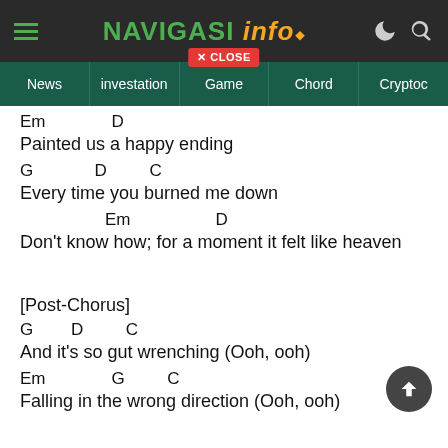NAVIGASI info — navigation bar with News, investation, Game, Chord, Crypto
Em                D
Painted us a happy ending
G             D          C
Every time you burned me down
Em                  D
Don't know how; for a moment it felt like heaven
[Post-Chorus]
G         D          C
And it's so gut wrenching (Ooh, ooh)
Em               G          C
Falling in the wrong direction (Ooh, ooh)